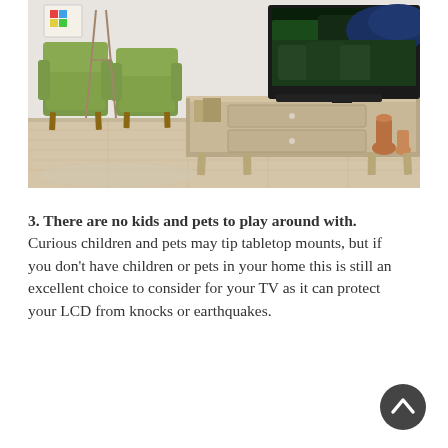[Figure (photo): A living room scene showing a wooden TV stand/media console with two drawers and open shelving, a large flat-screen TV mounted on top, two green mid-century modern armchairs in the background, and light wood flooring.]
3. There are no kids and pets to play around with. Curious children and pets may tip tabletop mounts, but if you don't have children or pets in your home this is still an excellent choice to consider for your TV as it can protect your LCD from knocks or earthquakes.